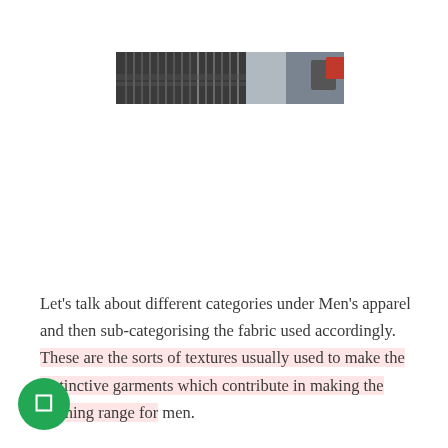[Figure (photo): A wide narrow photograph showing rows of hanging garments or metal hangers in a clothing/apparel setting, with blurred background.]
Let's talk about different categories under Men's apparel and then sub-categorising the fabric used accordingly. These are the sorts of textures usually used to make the distinctive garments which contribute in making the clothing range for men.